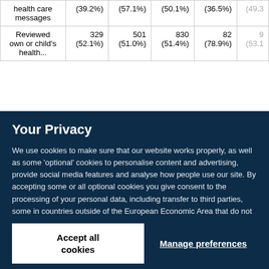|  |  |  |  |  |  |
| --- | --- | --- | --- | --- | --- |
| health care messages | (39.2%) | (57.1%) | (50.1%) | (36.5%) | (49.3 |
| Reviewed own or child's health... | 329
(52.1%) | 501
(51.0%) | 830
(51.4%) | 82
(78.9%) | 9
(53.1 |
Your Privacy
We use cookies to make sure that our website works properly, as well as some 'optional' cookies to personalise content and advertising, provide social media features and analyse how people use our site. By accepting some or all optional cookies you give consent to the processing of your personal data, including transfer to third parties, some in countries outside of the European Economic Area that do not offer the same data protection standards as the country where you live. You can decide which optional cookies to accept by clicking on 'Manage Settings', where you can also find more information about how your personal data is processed. Further information can be found in our privacy policy.
Accept all cookies
Manage preferences